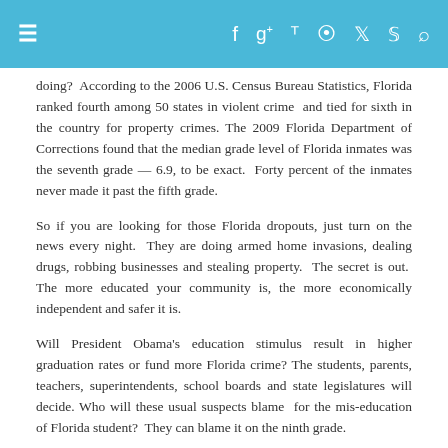≡  f  g+  p  )))  🐦  🔍
doing?  According to the 2006 U.S. Census Bureau Statistics, Florida ranked fourth among 50 states in violent crime  and tied for sixth in the country for property crimes. The 2009 Florida Department of Corrections found that the median grade level of Florida inmates was the seventh grade — 6.9, to be exact.  Forty percent of the inmates never made it past the fifth grade.
So if you are looking for those Florida dropouts, just turn on the news every night.  They are doing armed home invasions, dealing drugs, robbing businesses and stealing property.  The secret is out.  The more educated your community is, the more economically independent and safer it is.
Will President Obama's education stimulus result in higher graduation rates or fund more Florida crime? The students, parents, teachers, superintendents, school boards and state legislatures will decide. Who will these usual suspects blame  for the mis-education of Florida student?  They can blame it on the ninth grade.